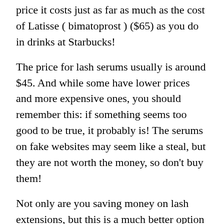price it costs just as far as much as the cost of Latisse ( bimatoprost ) ($65) as you do in drinks at Starbucks!
The price for lash serums usually is around $45. And while some have lower prices and more expensive ones, you should remember this: if something seems too good to be true, it probably is! The serums on fake websites may seem like a steal, but they are not worth the money, so don't buy them!
Not only are you saving money on lash extensions, but this is a much better option for those who experience sensitivity or allergies.
Plus, not just that- I don't have any allergy